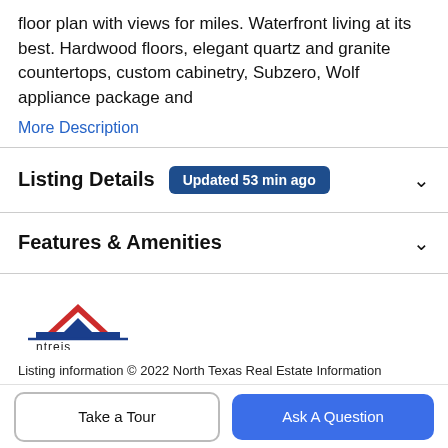floor plan with views for miles. Waterfront living at its best. Hardwood floors, elegant quartz and granite countertops, custom cabinetry, Subzero, Wolf appliance package and
More Description
Listing Details   Updated 53 min ago
Features & Amenities
[Figure (logo): ntreis logo — stylized house shape in red, white, and blue above the text 'ntreis']
Listing information © 2022 North Texas Real Estate Information System.
Schools
Take a Tour
Ask A Question